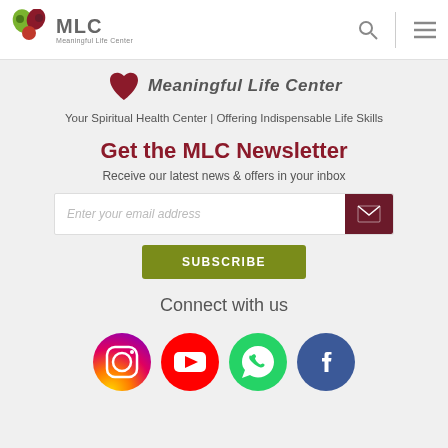[Figure (logo): MLC Meaningful Life Center logo with colorful leaf/drop icons]
[Figure (screenshot): Navigation header with search icon and hamburger menu]
[Figure (logo): Meaningful Life Center brand logo with heart/shield icon]
Your Spiritual Health Center | Offering Indispensable Life Skills
Get the MLC Newsletter
Receive our latest news & offers in your inbox
Enter your email address
SUBSCRIBE
Connect with us
[Figure (infographic): Social media icons: Instagram, YouTube, WhatsApp, Facebook]